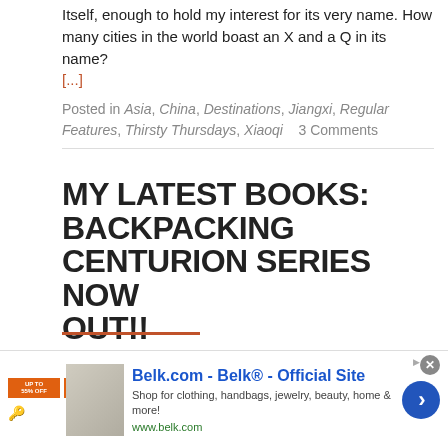Itself, enough to hold my interest for its very name. How many cities in the world boast an X and a Q in its name? [...]
Posted in Asia, China, Destinations, Jiangxi, Regular Features, Thirsty Thursdays, Xiaoqi    3 Comments
MY LATEST BOOKS: BACKPACKING CENTURION SERIES NOW OUT!!
[Figure (other): Amazon logo box with orange border showing 'amazon' text and arrow logo]
[Figure (other): Belk.com advertisement banner with photo, text 'Belk.com - Belk® - Official Site', description text, URL, and blue arrow button]